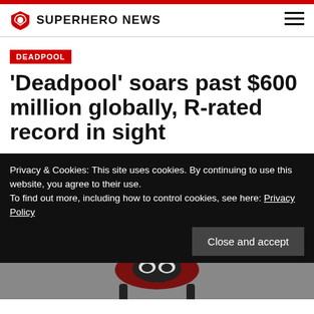SUPERHERO NEWS
DEADPOOL
'Deadpool' soars past $600 million globally, R-rated record in sight
Privacy & Cookies: This site uses cookies. By continuing to use this website, you agree to their use.
To find out more, including how to control cookies, see here: Privacy Policy
[Figure (photo): Deadpool character in red costume with arms raised, partial view at bottom of page]